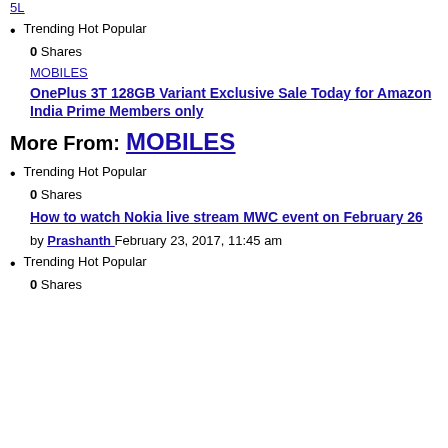5L (link at top, truncated)
Trending Hot Popular
0 Shares
MOBILES
OnePlus 3T 128GB Variant Exclusive Sale Today for Amazon India Prime Members only
More From: MOBILES
Trending Hot Popular
0 Shares
How to watch Nokia live stream MWC event on February 26
by Prashanth February 23, 2017, 11:45 am
Trending Hot Popular
0 Shares